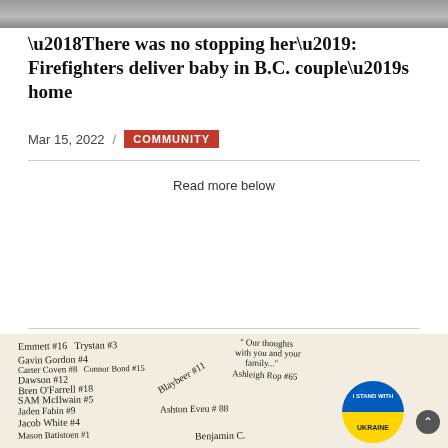[Figure (photo): Top portion of a group photo, partially cropped]
‘There was no stopping her’: Firefighters deliver baby in B.C. couple’s home
Mar 15, 2022 / COMMUNITY
Read more below
[Figure (photo): A card or book page with handwritten signatures and names including Emmett #16, Trystan #3, Gavin Gordon #4, Carter Coven #8, Connor Bond #15, Dawson #12, Bren O'Farrell #18, Blaybeer #11, SAM McIlwain #5, Jaden Fabin #9, Ashton Eveu #88, Jacob White #4, Mason Batistoen #1, Benjamin C., and a message 'Our thoughts with you and your family...' Ashleigh Rop #65. An 'I STAND WITH UKRAINE' badge is visible.]